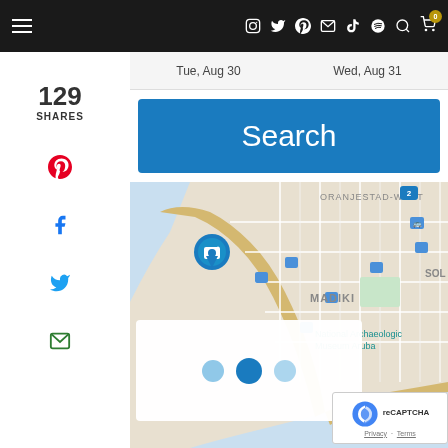Navigation bar with hamburger menu and social/utility icons
Tue, Aug 30   Wed, Aug 31
129
SHARES
[Figure (other): Social sharing sidebar with Pinterest, Facebook, Twitter, and Email icons]
[Figure (other): Blue Search button]
[Figure (map): Google Map showing Oranjestad-West area, Aruba, with MADIKI label, National Archaeological Museum Aruba label, bus stop icons, and a location pin marker. A loading spinner overlay (three dots) is visible. reCAPTCHA Privacy-Terms badge in bottom right.]